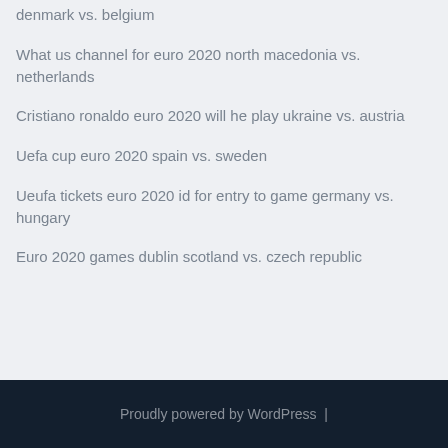denmark vs. belgium
What us channel for euro 2020 north macedonia vs. netherlands
Cristiano ronaldo euro 2020 will he play ukraine vs. austria
Uefa cup euro 2020 spain vs. sweden
Ueufa tickets euro 2020 id for entry to game germany vs. hungary
Euro 2020 games dublin scotland vs. czech republic
Proudly powered by WordPress |